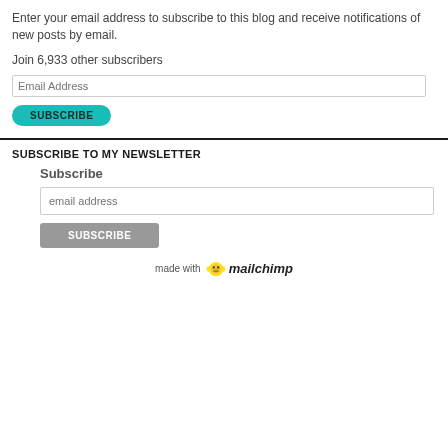Enter your email address to subscribe to this blog and receive notifications of new posts by email.
Join 6,933 other subscribers
[Figure (screenshot): Email Address input field (text box)]
[Figure (screenshot): SUBSCRIBE button (teal/cyan rounded button)]
SUBSCRIBE TO MY NEWSLETTER
Subscribe
[Figure (screenshot): email address input field (text box)]
[Figure (screenshot): SUBSCRIBE button (gray rectangular button)]
made with mailchimp